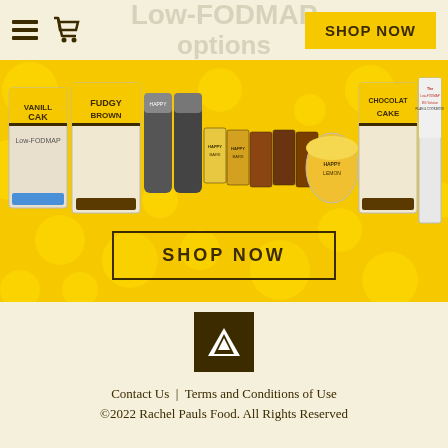Low-FODMAP options
[Figure (screenshot): Navigation bar with hamburger menu, shopping cart icon, and yellow Shop Now button]
[Figure (photo): Array of Low-FODMAP food products including Vanilla Cake mix, Fudgy Brownie mix, Happy Bars, Chocolate Cake mix, and the Low-FODMAP IBS Solution Plan and Cookbook, displayed on yellow polka dot background]
[Figure (other): Large SHOP NOW button with brown border on yellow polka dot background]
[Figure (logo): Rachel Pauls Food logo - brown square with white mountain/triangle peak icon]
Contact Us | Terms and Conditions of Use
©2022 Rachel Pauls Food. All Rights Reserved